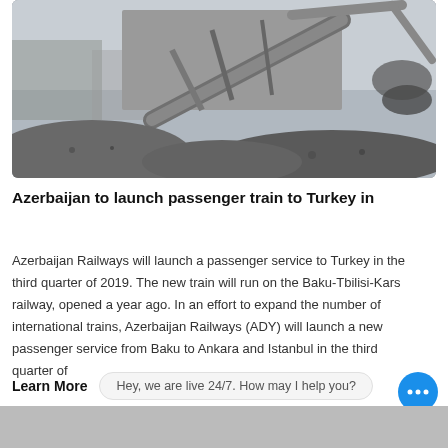[Figure (photo): Industrial heavy machinery, likely a crusher or conveyor system, surrounded by large piles of gravel or aggregate material, photographed outdoors in overcast conditions.]
Azerbaijan to launch passenger train to Turkey in
Azerbaijan Railways will launch a passenger service to Turkey in the third quarter of 2019. The new train will run on the Baku-Tbilisi-Kars railway, opened a year ago. In an effort to expand the number of international trains, Azerbaijan Railways (ADY) will launch a new passenger service from Baku to Ankara and Istanbul in the third quarter of
Learn More
Hey, we are live 24/7. How may I help you?